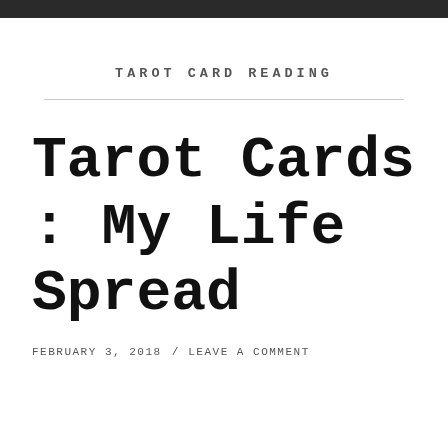TAROT CARD READING
Tarot Cards : My Life Spread
FEBRUARY 3, 2018  /  LEAVE A COMMENT